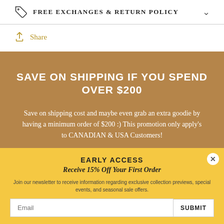FREE EXCHANGES & RETURN POLICY
Share
SAVE ON SHIPPING IF YOU SPEND OVER $200
Save on shipping cost and maybe even grab an extra goodie by having a minimum order of $200 :) This promotion only apply's to CANADIAN & USA Customers!
EARLY ACCESS
Receive 15% Off Your First Order
Join our newsletter to receive information regarding exclusive collection previews, special events, and seasonal sale offers.
Email
SUBMIT